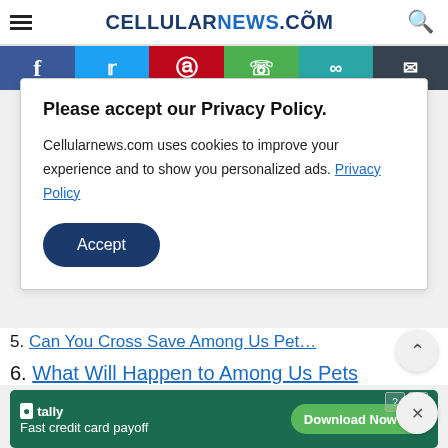CELLULARNEWS.COM
[Figure (infographic): Social sharing bar with Facebook, Twitter, Pinterest, WhatsApp, chain link, and email icons]
Please accept our Privacy Policy.
Cellularnews.com uses cookies to improve your experience and to show you personalized ads. Privacy Policy
Accept
5. Can You Cross Save Among Us Pet…
6. What Will Happen to Among Us Pets
[Figure (infographic): Tally app advertisement: Fast credit card payoff. Download Now button.]